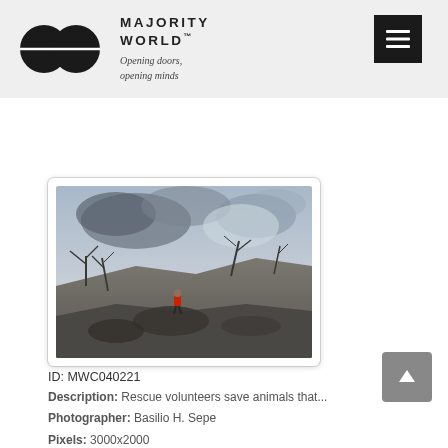[Figure (logo): Majority World logo: two overlapping black circles with a horizontal line through the center, beside the text MAJORITY WORLD™ and tagline Opening doors, opening minds]
MAJORITY WORLD™
Opening doors, opening minds
[Figure (photo): Outdoor scene showing a volcanic ash-covered landscape with dead bare trees and a person in a red jacket standing in the middle distance, under a dramatic cloudy sky.]
ID: MWC040221
Description: Rescue volunteers save animals that...
Photographer: Basilio H. Sepe
Pixels: 3000x2000